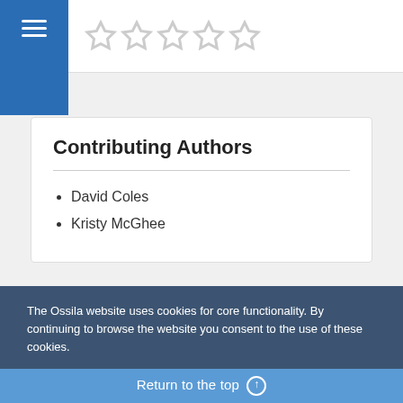[Figure (other): Five empty star rating icons in a row on white background]
Contributing Authors
David Coles
Kristy McGhee
Related Products
The Ossila website uses cookies for core functionality. By continuing to browse the website you consent to the use of these cookies.
Return to the top